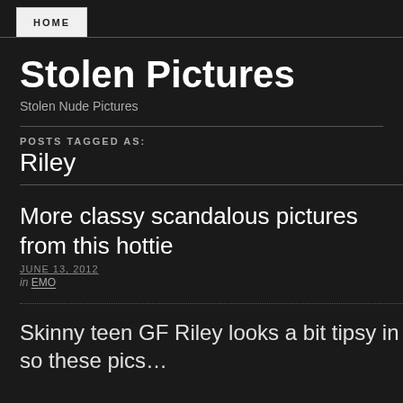HOME
Stolen Pictures
Stolen Nude Pictures
POSTS TAGGED AS: Riley
More classy scandalous pictures from this hottie
JUNE 13, 2012
in EMO
Skinny teen GF Riley looks a bit tipsy in some these pics…